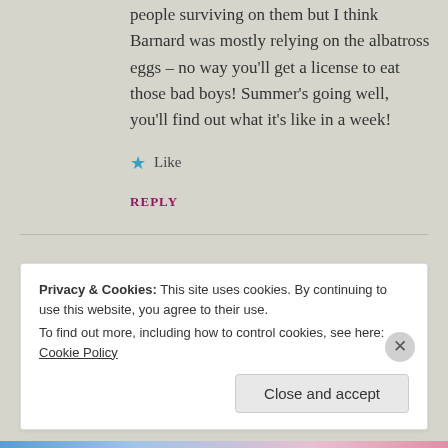people surviving on them but I think Barnard was mostly relying on the albatross eggs – no way you'll get a license to eat those bad boys! Summer's going well, you'll find out what it's like in a week!
★ Like
REPLY
Privacy & Cookies: This site uses cookies. By continuing to use this website, you agree to their use. To find out more, including how to control cookies, see here: Cookie Policy
Close and accept